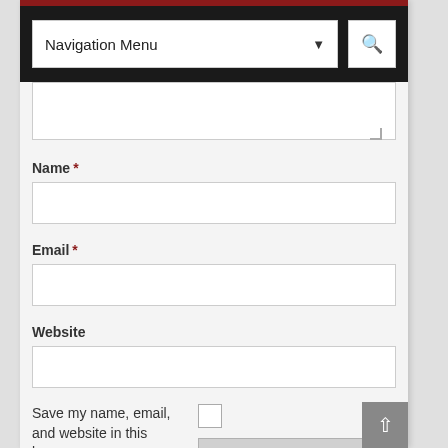[Figure (screenshot): Navigation menu bar with dark background, a dropdown labeled 'Navigation Menu' with chevron arrow, and a search button with magnifying glass icon]
Name *
Email *
Website
Save my name, email, and website in this browser
Post Comment